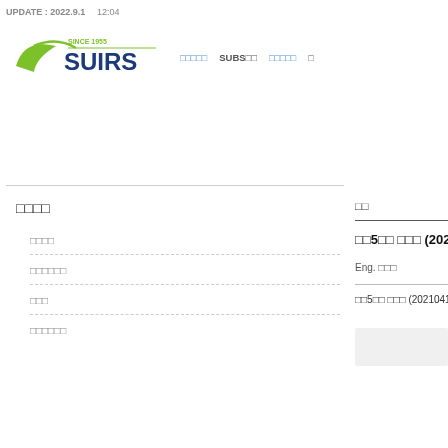UPDATE : 2022.9.1 　12:04
[Figure (logo): SUIRS logo with green swoosh and blue text, SINCE 1955]
□□□□□　SUBS□□　□□□□□　□
□□□□
□□□□
□□□□□□
□□□
□□□□□□
□□
□□5□□ □□□ (202
Eng. □□□
□□5□□ □□□ (20210419